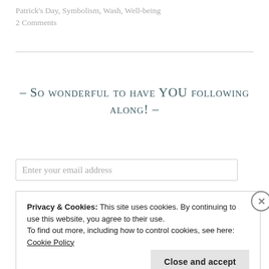Patrick’s Day, Symbolism, Wash, Well-being
2 Comments
- So wonderful to have YOU following along! -
Enter your email address
Privacy & Cookies: This site uses cookies. By continuing to use this website, you agree to their use.
To find out more, including how to control cookies, see here: Cookie Policy
Close and accept